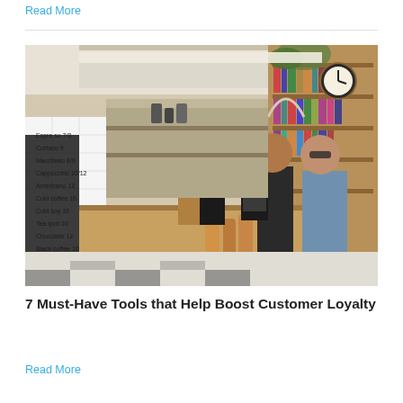Read More
[Figure (photo): Interior of a modern cafe/coffee shop with customers at the counter. A barista in black stands behind the counter. Menu is written on a white tile wall on the left side. Bookshelves and a large clock are visible in the background on the right. Customers are browsing and ordering.]
7 Must-Have Tools that Help Boost Customer Loyalty
Read More